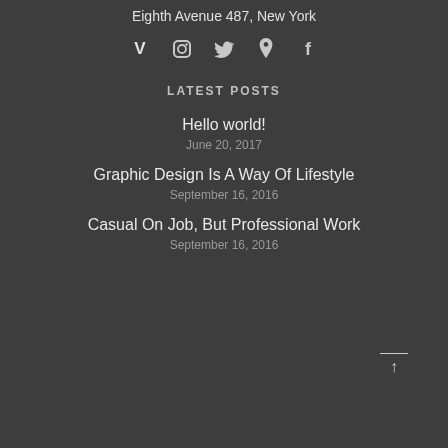Eighth Avenue 487, New York
[Figure (other): Social media icons: Vimeo (v), Instagram (camera), Twitter (bird), Pinterest (p), Facebook (f)]
LATEST POSTS
Hello world!
June 20, 2017
Graphic Design Is A Way Of Lifestyle
September 16, 2016
Casual On Job, But Professional Work
September 16, 2016